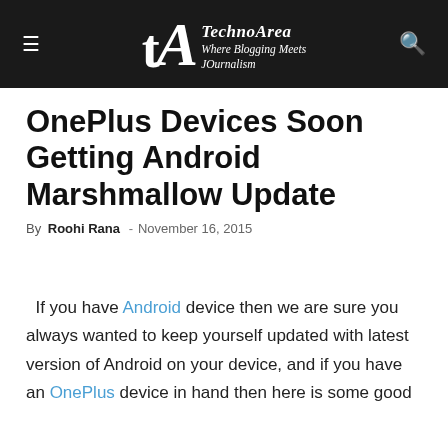TechnoArea – Where Blogging Meets JOurnalism
OnePlus Devices Soon Getting Android Marshmallow Update
By Roohi Rana – November 16, 2015
If you have Android device then we are sure you always wanted to keep yourself updated with latest version of Android on your device, and if you have an OnePlus device in hand then here is some good